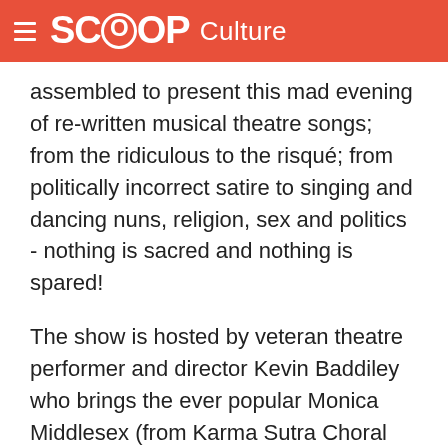SCOOP Culture
assembled to present this mad evening of re-written musical theatre songs; from the ridiculous to the risqué; from politically incorrect satire to singing and dancing nuns, religion, sex and politics - nothing is sacred and nothing is spared!
The show is hosted by veteran theatre performer and director Kevin Baddiley who brings the ever popular Monica Middlesex (from Karma Sutra Choral and Dramatic Society fame) out of retirement for more good-natured audience banter and heckling. Karen Anslow, Lyndee-Jane Rutherford and Michael White complete the cast as they sing their way through a